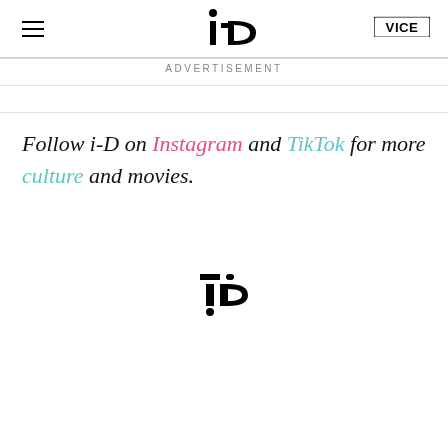i-D   VICE
ADVERTISEMENT
Follow i-D on Instagram and TikTok for more culture and movies.
[Figure (logo): i-D magazine logo centered on page]
[Figure (screenshot): Share and Tweet buttons, and a video overlay showing a darkened scene with a person]